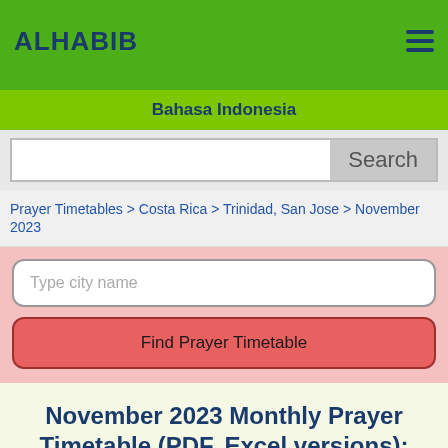ALHABIB
Bahasa Indonesia
Search
Prayer Timetables > Costa Rica > Trinidad, San Jose > November 2023
Type city name
Find Prayer Timetable
November 2023 Monthly Prayer Timetable (PDF, Excel versions): Trinidad, San Jose, Costa Rica